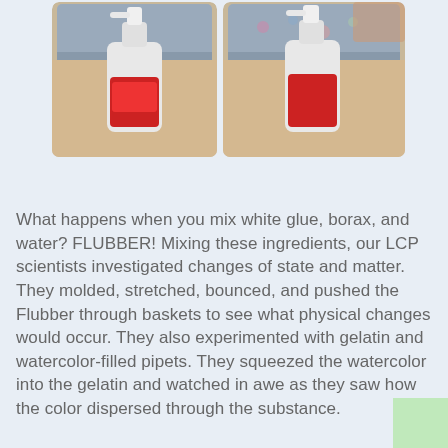[Figure (photo): Two side-by-side photos of red liquid in a clear bottle with a spray pump, placed on a wooden surface next to a gray tray]
What happens when you mix white glue, borax, and water?  FLUBBER!  Mixing these ingredients, our LCP scientists investigated changes of state and matter.  They molded, stretched, bounced, and pushed the Flubber through baskets to see what physical changes would occur.  They also experimented with gelatin and watercolor-filled pipets.  They squeezed the watercolor into the gelatin and watched in awe as they saw how the color dispersed through the substance.
[Figure (photo): Children in a classroom or lab setting; a girl in a pink shirt looks down while standing near a blue-taped wall; another child is visible in the foreground]